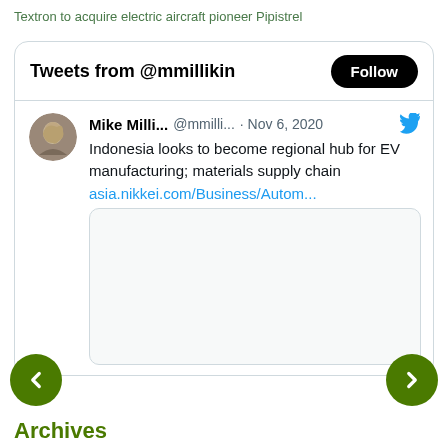Textron to acquire electric aircraft pioneer Pipistrel
Tweets from @mmillikin
[Figure (screenshot): Twitter widget showing a tweet by Mike Milli... (@mmilli...) from Nov 6, 2020: 'Indonesia looks to become regional hub for EV manufacturing; materials supply chain asia.nikkei.com/Business/Autom...' with a blank image preview box below the tweet text.]
Archives